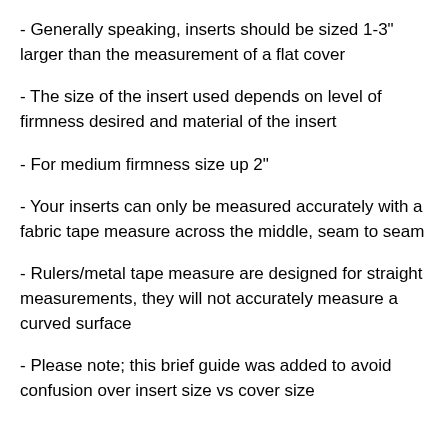- Generally speaking, inserts should be sized 1-3" larger than the measurement of a flat cover
- The size of the insert used depends on level of firmness desired and material of the insert
- For medium firmness size up 2"
- Your inserts can only be measured accurately with a fabric tape measure across the middle, seam to seam
- Rulers/metal tape measure are designed for straight measurements, they will not accurately measure a curved surface
- Please note; this brief guide was added to avoid confusion over insert size vs cover size